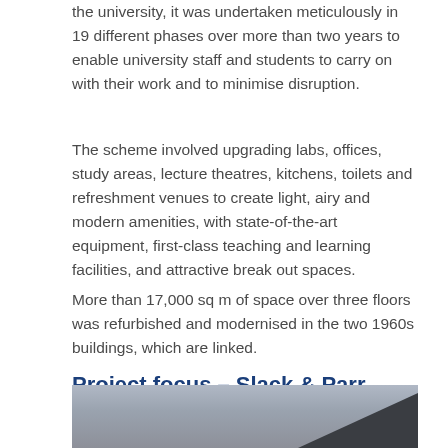the university, it was undertaken meticulously in 19 different phases over more than two years to enable university staff and students to carry on with their work and to minimise disruption.
The scheme involved upgrading labs, offices, study areas, lecture theatres, kitchens, toilets and refreshment venues to create light, airy and modern amenities, with state-of-the-art equipment, first-class teaching and learning facilities, and attractive break out spaces.
More than 17,000 sq m of space over three floors was refurbished and modernised in the two 1960s buildings, which are linked.
Project focus – Slack & Parr, Kegworth
[Figure (photo): Partial view of a building exterior, likely Slack & Parr in Kegworth, showing grey sky and dark angular architectural elements.]